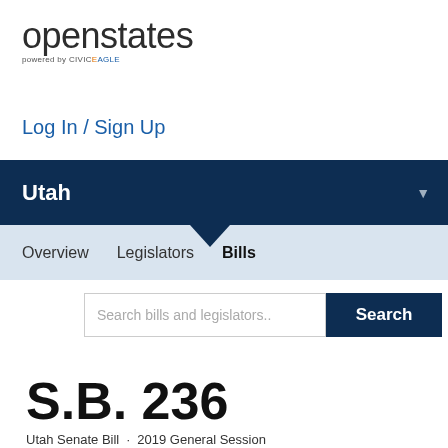[Figure (logo): openstates logo powered by CIVICEAGLE]
Log In / Sign Up
Utah
Overview  Legislators  Bills
Search bills and legislators..
S.B. 236
Utah Senate Bill · 2019 General Session